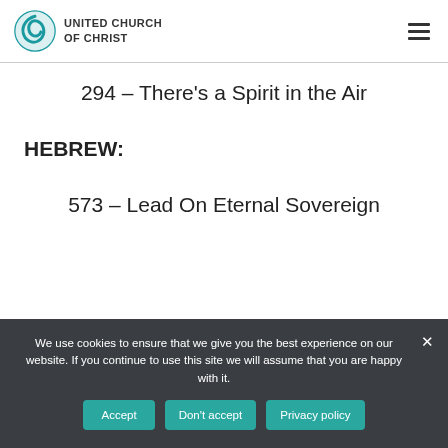UNITED CHURCH OF CHRIST
294 – There's a Spirit in the Air
HEBREW:
573 – Lead On Eternal Sovereign
We use cookies to ensure that we give you the best experience on our website. If you continue to use this site we will assume that you are happy with it.